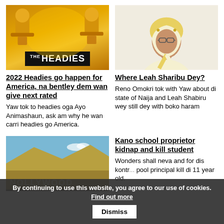[Figure (photo): The Headies award show promotional image with golden trophies and 'THE HEADIES' text on dark background]
[Figure (photo): Portrait of Leah Sharibu, young Nigerian woman wearing yellow/white hijab and glasses]
2022 Headies go happen for America, na bentley dem wan give next rated
Yaw tok to headies oga Ayo Animashaun, ask am why he wan carri headies go America.
Where Leah Sharibu Dey?
Reno Omokri tok with Yaw about di state of Naija and Leah Shabiru wey still dey with boko haram
[Figure (photo): Nollywood sign on hillside, Hollywood-style lettering, photo appears partially obscured by cookie banner]
Kano school proprietor kidnap and kill student
Wonders shall neva end for dis kontr... pool principal kill di 11 year old.
By continuing to use this website, you agree to our use of cookies. Find out more  Dismiss